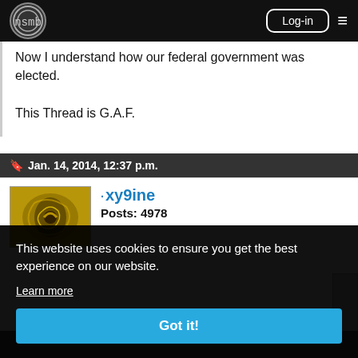nsmb | Log-in
Now I understand how our federal government was elected.

This Thread is G.A.F.
Jan. 14, 2014, 12:37 p.m.
xy9ine
Posts: 4978
This website uses cookies to ensure you get the best experience on our website.
Learn more
Got it!